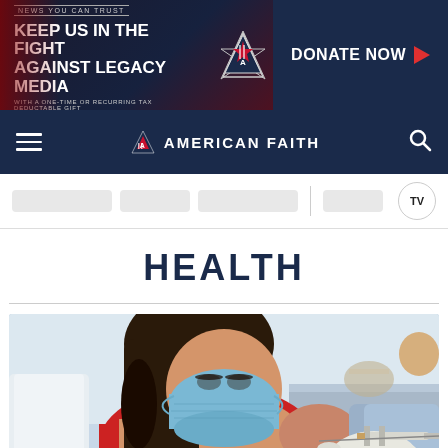[Figure (screenshot): Banner advertisement: dark navy/red background with text 'NEWS YOU CAN TRUST / KEEP US IN THE FIGHT AGAINST LEGACY MEDIA / WITH A ONE-TIME OR RECURRING TAX DEDUCTABLE GIFT' on left, American Faith logo star in center, and 'DONATE NOW' button with red arrow on right]
AMERICAN FAITH — navigation bar with hamburger menu and search icon
[Figure (screenshot): Ticker bar with gray placeholder pills and TV icon in a circle on the right]
HEALTH
[Figure (photo): Photo of a young girl wearing a surgical mask receiving a vaccine injection in her arm from a gloved healthcare worker. Clinical setting with blurred background.]